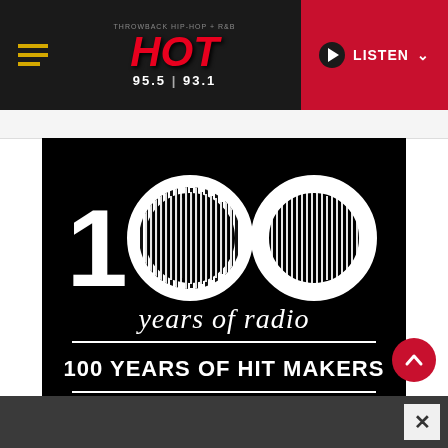HOT 95.5 | 93.1 — THROWBACK HIP-HOP + R&B — LISTEN
[Figure (illustration): 100 Years of Radio promotional graphic on black background. Large '100' text with audio waveform filling the zeros, below reads 'years of radio', then '100 YEARS OF HIT MAKERS', with logos for Beasley Media Group LLC, BMI, and HD Radio.]
Advertisement close button